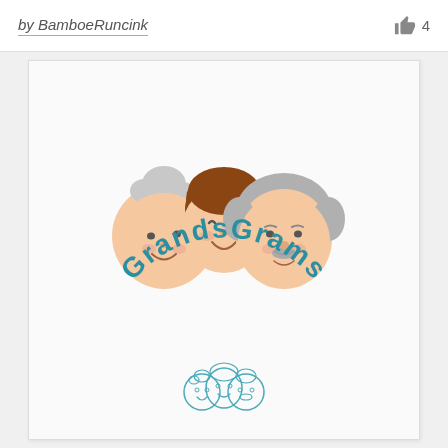by BamboeRuncink  👍 4
[Figure (logo): GrandsGrams logo featuring three cartoon faces (grandmother on left with gray bun, child in center with brown hair, grandfather on right with gray hair and mustache) arranged in an arc above the text 'GRANDSGRAMS' in teal/dark cyan curved lettering]
[Figure (logo): Smaller version of the GrandsGrams logo showing three cartoon faces in outline/sketch style at the bottom of the card]